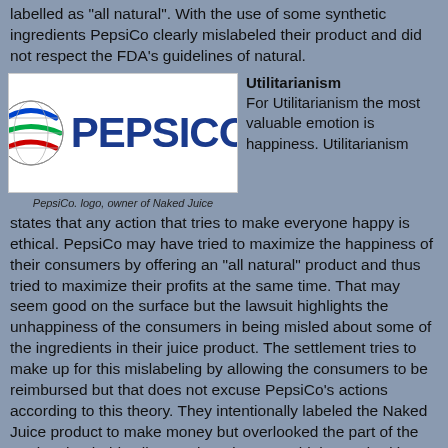labelled as "all natural". With the use of some synthetic ingredients PepsiCo clearly mislabeled their product and did not respect the FDA's guidelines of natural.
[Figure (logo): PepsiCo logo featuring a globe icon with red, white, and blue arcs alongside the word PEPSICO in bold blue text]
PepsiCo. logo, owner of Naked Juice
Utilitarianism
For Utilitarianism the most valuable emotion is happiness. Utilitarianism states that any action that tries to make everyone happy is ethical. PepsiCo may have tried to maximize the happiness of their consumers by offering an "all natural" product and thus tried to maximize their profits at the same time. That may seem good on the surface but the lawsuit highlights the unhappiness of the consumers in being misled about some of the ingredients in their juice product. The settlement tries to make up for this mislabeling by allowing the consumers to be reimbursed but that does not excuse PepsiCo's actions according to this theory. They intentionally labeled the Naked Juice product to make money but overlooked the part of the market that holds all natural products to a high standard in